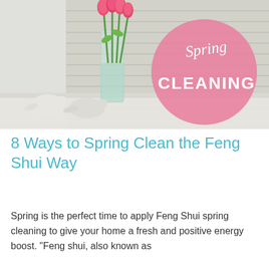[Figure (photo): Photo of pink tulips in a glass vase on a white windowsill with venetian blinds, overlaid with a pink circle graphic reading 'Spring CLEANING' in white script and bold text.]
8 Ways to Spring Clean the Feng Shui Way
Spring is the perfect time to apply Feng Shui spring cleaning to give your home a fresh and positive energy boost. "Feng shui, also known as